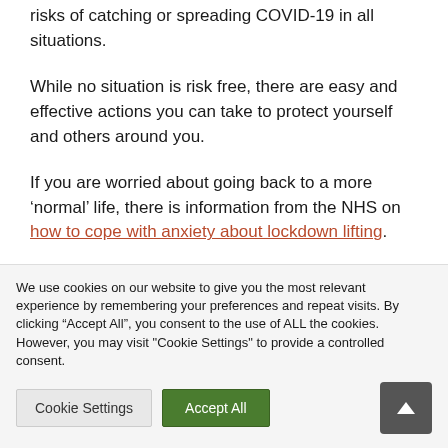risks of catching or spreading COVID-19 in all situations.
While no situation is risk free, there are easy and effective actions you can take to protect yourself and others around you.
If you are worried about going back to a more ‘normal’ life, there is information from the NHS on how to cope with anxiety about lockdown lifting.
We use cookies on our website to give you the most relevant experience by remembering your preferences and repeat visits. By clicking “Accept All”, you consent to the use of ALL the cookies. However, you may visit "Cookie Settings" to provide a controlled consent.